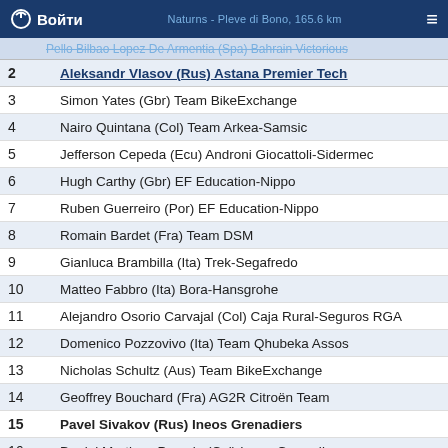Naturns - Pleve di Bono, 165.6 km
| Pos | Rider |
| --- | --- |
| 2 | Aleksandr Vlasov (Rus) Astana Premier Tech |
| 3 | Simon Yates (Gbr) Team BikeExchange |
| 4 | Nairo Quintana (Col) Team Arkea-Samsic |
| 5 | Jefferson Cepeda (Ecu) Androni Giocattoli-Sidermec |
| 6 | Hugh Carthy (Gbr) EF Education-Nippo |
| 7 | Ruben Guerreiro (Por) EF Education-Nippo |
| 8 | Romain Bardet (Fra) Team DSM |
| 9 | Gianluca Brambilla (Ita) Trek-Segafredo |
| 10 | Matteo Fabbro (Ita) Bora-Hansgrohe |
| 11 | Alejandro Osorio Carvajal (Col) Caja Rural-Seguros RGA |
| 12 | Domenico Pozzovivo (Ita) Team Qhubeka Assos |
| 13 | Nicholas Schultz (Aus) Team BikeExchange |
| 14 | Geoffrey Bouchard (Fra) AG2R Citroën Team |
| 15 | Pavel Sivakov (Rus) Ineos Grenadiers |
| 16 | Daniel Martinez Poveda (Col) Ineos Grenadiers |
| 17 | Florian Lipowitz (Ger) Tirol KTM Cycling Team |
| 18 | Jai Hindley (Aus) Team DSM |
| 19 | Edward Ravasi (Ita) Eolo-Kometa Cycling Team |
| 20 | Andres Camilo Ardila Ordoñez (Col) UAE Team Emirates |
| 21 | Ben Zwiehoff (Ger) Bora-Hansgrohe |